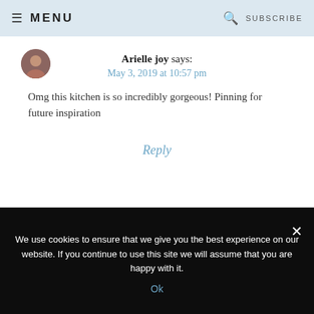≡ MENU   🔍 SUBSCRIBE
Arielle joy says:
May 3, 2019 at 10:57 pm
Omg this kitchen is so incredibly gorgeous! Pinning for future inspiration
Reply
We use cookies to ensure that we give you the best experience on our website. If you continue to use this site we will assume that you are happy with it.
Ok